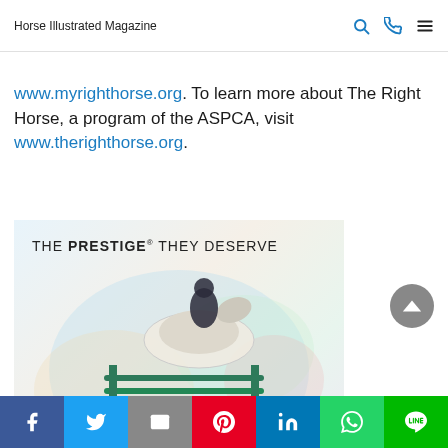Horse Illustrated Magazine
www.myrighthorse.org. To learn more about The Right Horse, a program of the ASPCA, visit www.therighthorse.org.
[Figure (photo): Advertisement for Prestige equine product line showing a horse and rider jumping over a fence with colorful paint splashes and product boxes lined up at the bottom. Text reads: THE PRESTIGE® THEY DESERVE. Copyright © 2022 Merck & Co., Inc.]
Social sharing bar: Facebook, Twitter, Email, Pinterest, LinkedIn, WhatsApp, LINE